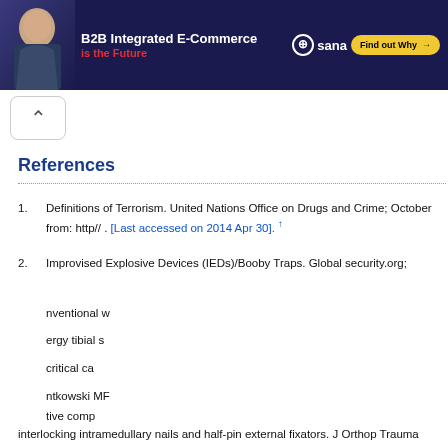[Figure (other): Advertisement banner for B2B Integrated E-Commerce by Sana. Dark navy background with a man smiling. Text reads 'B2B Integrated E-Commerce is the Future' with a 'Find out Why' button.]
References
1. Definitions of Terrorism. United Nations Office on Drugs and Crime; October [Last accessed on 2014 Apr 30]. from: http// .
2. Improvised Explosive Devices (IEDs)/Booby Traps. Global security.org;
This website uses cookies. By continuing to use this website you are giving consent to cookies being used. For information on cookies and how you can disable them visit our Privacy and Cookie Policy.
AGREE & PROCEED